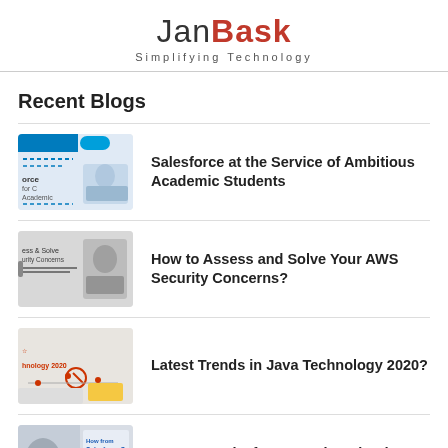JanBask Simplifying Technology
Recent Blogs
[Figure (illustration): Thumbnail for Salesforce at the Service of Ambitious Academic Students blog post]
Salesforce at the Service of Ambitious Academic Students
[Figure (illustration): Thumbnail for How to Assess and Solve Your AWS Security Concerns blog post]
How to Assess and Solve Your AWS Security Concerns?
[Figure (illustration): Thumbnail for Latest Trends in Java Technology 2020 blog post]
Latest Trends in Java Technology 2020?
[Figure (illustration): Thumbnail for How can Salesforce Service Cloud Resolve Business Problems blog post]
How can Salesforce Service Cloud Resolve Business Problems?